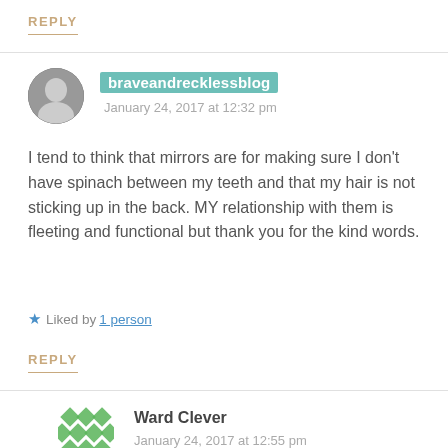REPLY
braveandrecklessblog
January 24, 2017 at 12:32 pm
I tend to think that mirrors are for making sure I don't have spinach between my teeth and that my hair is not sticking up in the back. MY relationship with them is fleeting and functional but thank you for the kind words.
★ Liked by 1 person
REPLY
Ward Clever
January 24, 2017 at 12:55 pm